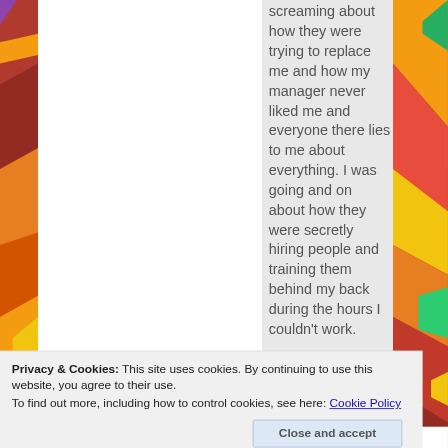screaming about how they were trying to replace me and how my manager never liked me and everyone there lies to me about everything. I was going and on about how they were secretly hiring people and training them behind my back during the hours I couldn’t work.
Privacy & Cookies: This site uses cookies. By continuing to use this website, you agree to their use.
To find out more, including how to control cookies, see here: Cookie Policy
Close and accept
The next time I was...